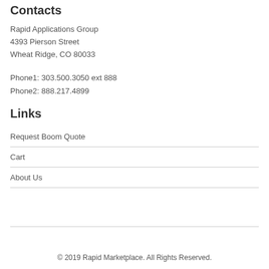Contacts
Rapid Applications Group
4393 Pierson Street
Wheat Ridge, CO 80033
Phone1: 303.500.3050 ext 888
Phone2: 888.217.4899
Links
Request Boom Quote
Cart
About Us
© 2019 Rapid Marketplace. All Rights Reserved.